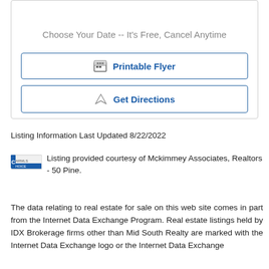Choose Your Date -- It's Free, Cancel Anytime
Printable Flyer
Get Directions
Listing Information Last Updated 8/22/2022
Listing provided courtesy of Mckimmey Associates, Realtors - 50 Pine.
The data relating to real estate for sale on this web site comes in part from the Internet Data Exchange Program. Real estate listings held by IDX Brokerage firms other than Mid South Realty are marked with the Internet Data Exchange logo or the Internet Data Exchange